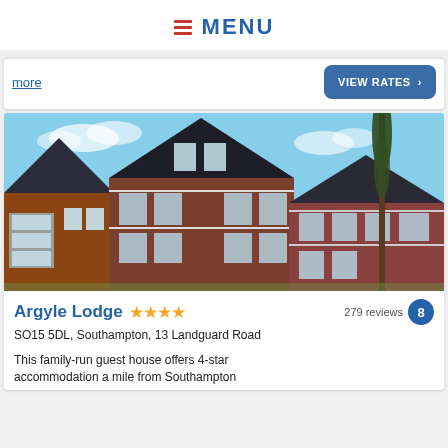MENU
more
VIEW RATES >
[Figure (photo): Exterior photo of Argyle Lodge, a multi-gabled Victorian-style red brick guest house with bay windows under a blue sky with a tall tree visible]
Argyle Lodge
279 reviews  8
SO15 5DL, Southampton, 13 Landguard Road
This family-run guest house offers 4-star accommodation a mile from Southampton